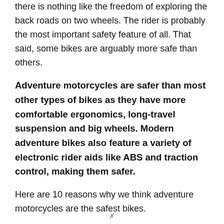there is nothing like the freedom of exploring the back roads on two wheels. The rider is probably the most important safety feature of all. That said, some bikes are arguably more safe than others.
Adventure motorcycles are safer than most other types of bikes as they have more comfortable ergonomics, long-travel suspension and big wheels. Modern adventure bikes also feature a variety of electronic rider aids like ABS and traction control, making them safer.
Here are 10 reasons why we think adventure motorcycles are the safest bikes.